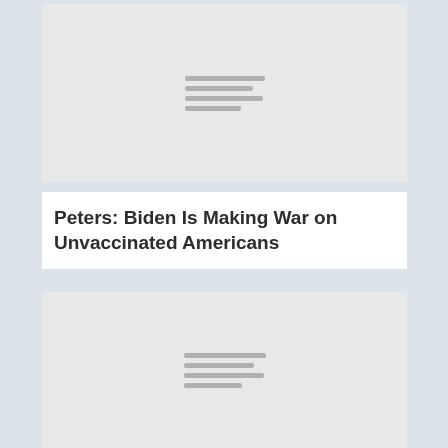[Figure (photo): Placeholder image with loading lines icon, top section]
Peters: Biden Is Making War on Unvaccinated Americans
[Figure (photo): Placeholder image with loading lines icon, bottom section]